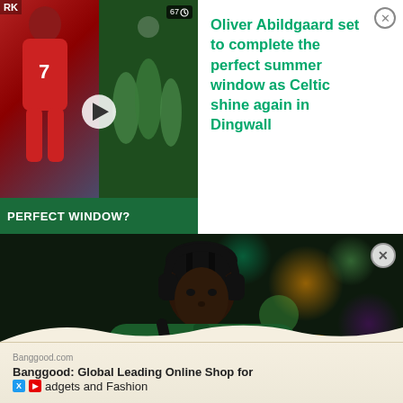[Figure (screenshot): News article card with thumbnail video showing football player in red jersey numbered 7 (Denmark kit) on left and Celtic players celebrating on right, with green banner reading PERFECT WINDOW?, play button overlay, duration badge showing 67 seconds]
Oliver Abildgaard set to complete the perfect summer window as Celtic shine again in Dingwall
[Figure (photo): A footballer wearing a dark green Celtic FC hoodie with New Balance logo and Magners sponsor, headphones on, holding football boots, photographed at night with colourful bokeh lights in background]
Banggood.com
Banggood: Global Leading Online Shop for Gadgets and Fashion